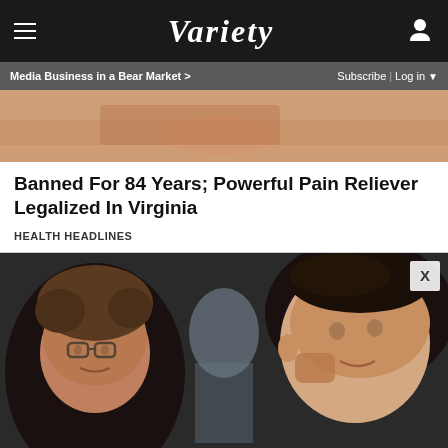Variety
Media Business in a Bear Market > | Subscribe | Log in
[Figure (photo): Close-up photo of a hand or skin, cropped]
Banned For 84 Years; Powerful Pain Reliever Legalized In Virginia
HEALTH HEADLINES
[Figure (photo): Two men facing each other closely, one with curly hair and glasses, the other with dark slicked-back hair, a third man visible in the background smiling]
[Figure (infographic): The Daily Show with Trevor Noah advertisement banner: 7 Emmy Nominations including Outstanding Variety Talk Series, FYC]